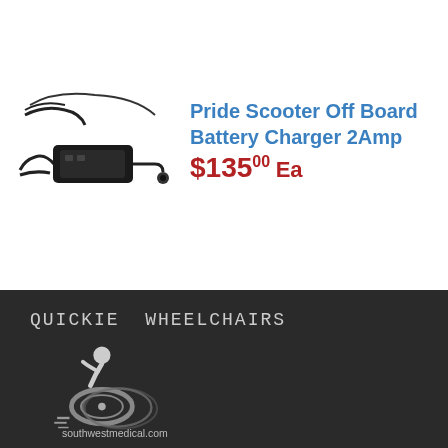[Figure (photo): Black battery charger device with cable]
Pride Scooter Off Board Battery Charger 2Amp $135.00 Ea
QUICKIE WHEELCHAIRS
[Figure (logo): Quickie Wheelchairs logo: stylized wheelchair user in motion with southwestmedical.com text]